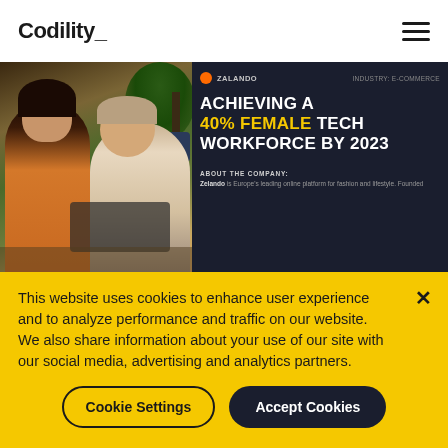Codility_
[Figure (screenshot): Screenshot of a Codility case study page showing two women working together at a table with a laptop, alongside dark background text reading 'ACHIEVING A 40% FEMALE TECH WORKFORCE BY 2023' with Zalando branding and an About the Company section]
This website uses cookies to enhance user experience and to analyze performance and traffic on our website. We also share information about your use of our site with our social media, advertising and analytics partners.
Cookie Settings
Accept Cookies